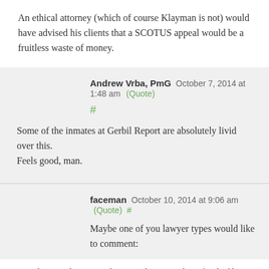An ethical attorney (which of course Klayman is not) would have advised his clients that a SCOTUS appeal would be a fruitless waste of money.
Andrew Vrba, PmG October 7, 2014 at 1:48 am (Quote) #
Some of the inmates at Gerbil Report are absolutely livid over this.
Feels good, man.
faceman October 10, 2014 at 9:06 am (Quote) #
Maybe one of you lawyer types would like to comment:
In regards to Rudy v. Lee, the guy who wanted a refund of his patent application fee because Obama was 'ineligible' to